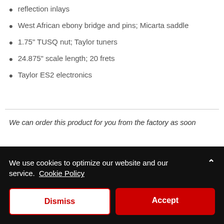reflection inlays
West African ebony bridge and pins; Micarta saddle
1.75" TUSQ nut; Taylor tuners
24.875" scale length; 20 frets
Taylor ES2 electronics
We can order this product for you from the factory as soon
We use cookies to optimize our website and our service.  Cookie Policy
Dismiss
Accept